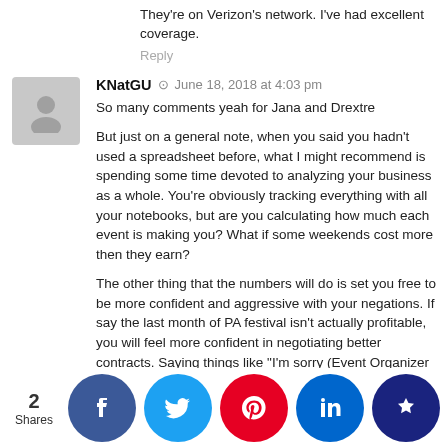They're on Verizon's network. I've had excellent coverage.
Reply
KNatGU  June 18, 2018 at 4:03 pm
So many comments yeah for Jana and Drextre
But just on a general note, when you said you hadn't used a spreadsheet before, what I might recommend is spending some time devoted to analyzing your business as a whole. You're obviously tracking everything with all your notebooks, but are you calculating how much each event is making you? What if some weekends cost more then they earn?

The other thing that the numbers will do is set you free to be more confident and aggressive with your negations. If say the last month of PA festival isn't actually profitable, you will feel more confident in negotiating better contracts. Saying things like "I'm sorry (Event Organizer Person) last year this show cost us, if you can drop the performance fee to 1/2, we can attend but otherwise we are a No" Also go to your vet and ask if we do so...blicity o...get a $5...dit may...local c...ial? yo...we are...ustom...
2
Shares